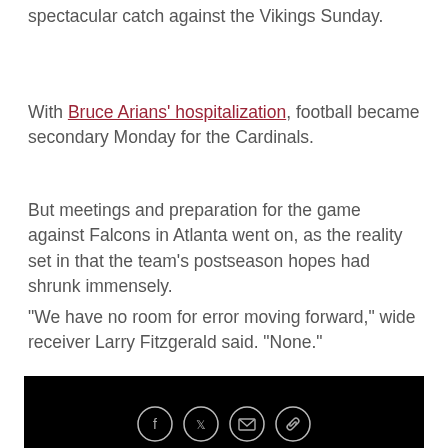spectacular catch against the Vikings Sunday.
With Bruce Arians' hospitalization, football became secondary Monday for the Cardinals.
But meetings and preparation for the game against Falcons in Atlanta went on, as the reality set in that the team's postseason hopes had shrunk immensely.
"We have no room for error moving forward," wide receiver Larry Fitzgerald said. "None."
[Figure (photo): Black image/video placeholder]
[Figure (infographic): Social share icons: Facebook, Twitter, Email, Link]